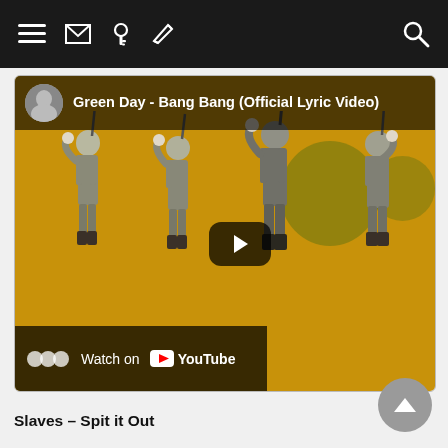[Figure (screenshot): Mobile app top navigation bar with dark background, showing hamburger menu icon, envelope icon, key icon, pencil/edit icon on the left, and search icon on the right, all in white on black background.]
[Figure (screenshot): YouTube embedded video thumbnail for 'Green Day - Bang Bang (Official Lyric Video)' showing four animated soldier figures in grey uniforms against a golden-yellow background with green blob shapes. A play button is overlaid in the center. A 'Watch on YouTube' overlay bar appears at the bottom left.]
Slaves – Spit it Out